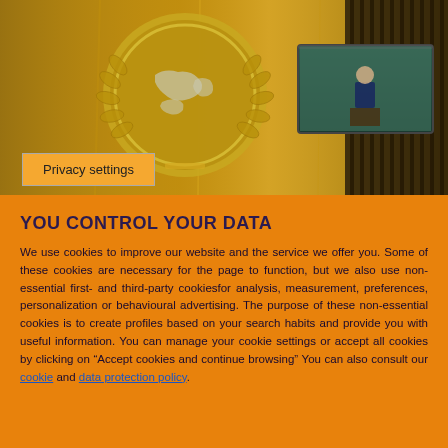[Figure (photo): Photograph of the United Nations General Assembly hall showing the UN emblem (world map in laurel wreath) on a gold wall, and a screen displaying a man in a dark suit speaking at a podium.]
Privacy settings
YOU CONTROL YOUR DATA
We use cookies to improve our website and the service we offer you. Some of these cookies are necessary for the page to function, but we also use non-essential first- and third-party cookiesfor analysis, measurement, preferences, personalization or behavioural advertising. The purpose of these non-essential cookies is to create profiles based on your search habits and provide you with useful information. You can manage your cookie settings or accept all cookies by clicking on "Accept cookies and continue browsing" You can also consult our cookie and data protection policy.